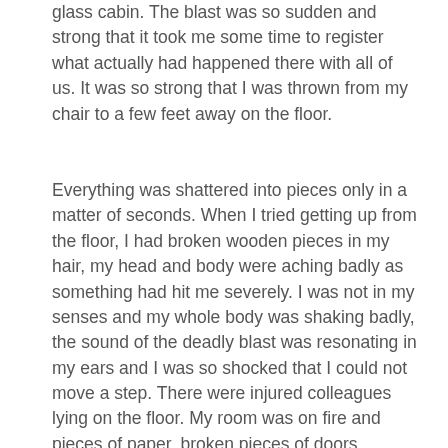glass cabin. The blast was so sudden and strong that it took me some time to register what actually had happened there with all of us. It was so strong that I was thrown from my chair to a few feet away on the floor.
Everything was shattered into pieces only in a matter of seconds. When I tried getting up from the floor, I had broken wooden pieces in my hair, my head and body were aching badly as something had hit me severely. I was not in my senses and my whole body was shaking badly, the sound of the deadly blast was resonating in my ears and I was so shocked that I could not move a step. There were injured colleagues lying on the floor. My room was on fire and pieces of paper, broken pieces of doors, broken pieces of my glass cabin, windows and tables were lying here and there. I was looking at my injured colleagues in a state of shock and horror. “Vacate the building immediately”, I heard one of my colleagues saying. But I could not move till the